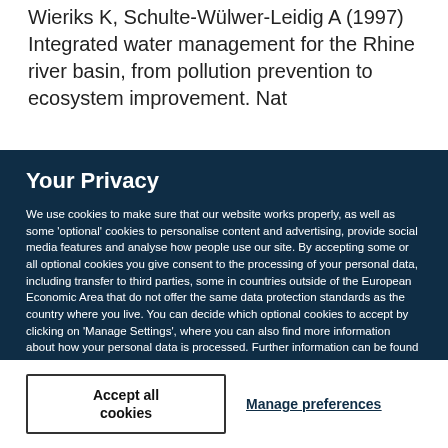Wieriks K, Schulte-Wülwer-Leidig A (1997) Integrated water management for the Rhine river basin, from pollution prevention to ecosystem improvement. Nat
Your Privacy
We use cookies to make sure that our website works properly, as well as some 'optional' cookies to personalise content and advertising, provide social media features and analyse how people use our site. By accepting some or all optional cookies you give consent to the processing of your personal data, including transfer to third parties, some in countries outside of the European Economic Area that do not offer the same data protection standards as the country where you live. You can decide which optional cookies to accept by clicking on 'Manage Settings', where you can also find more information about how your personal data is processed. Further information can be found in our privacy policy.
Accept all cookies
Manage preferences